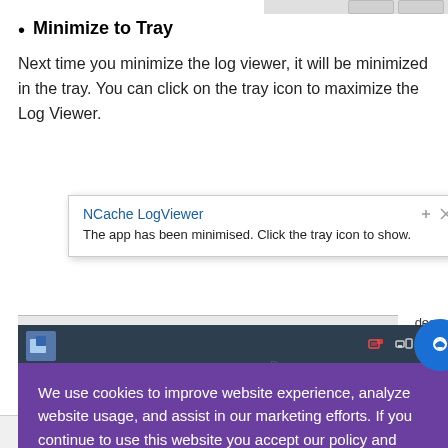Minimize to Tray
Next time you minimize the log viewer, it will be minimized in the tray. You can click on the tray icon to maximize the Log Viewer.
[Figure (screenshot): Screenshot showing NCache LogViewer notification popup saying 'The app has been minimised. Click the tray icon to show.' with a Windows taskbar. A cookie consent banner overlays the bottom portion reading 'We use cookies to improve website experience, analyze website usage, and assist in our marketing efforts. If you continue to use this website you accept our policy and usage. [Learn More]' with an Accept button. A blue chat bubble icon is visible in the bottom right corner.]